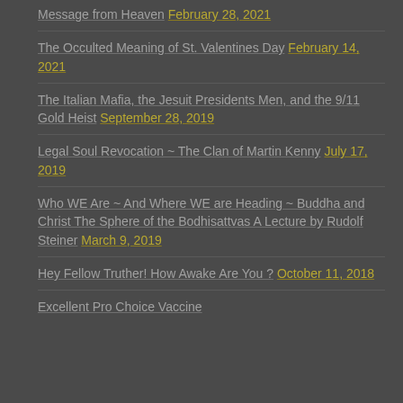Message from Heaven February 28, 2021
The Occulted Meaning of St. Valentines Day February 14, 2021
The Italian Mafia, the Jesuit Presidents Men, and the 9/11 Gold Heist September 28, 2019
Legal Soul Revocation ~ The Clan of Martin Kenny July 17, 2019
Who WE Are ~ And Where WE are Heading ~ Buddha and Christ The Sphere of the Bodhisattvas A Lecture by Rudolf Steiner March 9, 2019
Hey Fellow Truther! How Awake Are You ? October 11, 2018
Excellent Pro Choice Vaccine